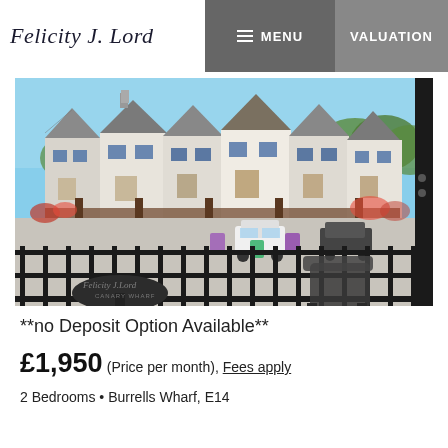Felicity J. Lord | MENU | VALUATION
[Figure (photo): Balcony view of a residential development with white townhouses, cars parked in a courtyard, metal railings in the foreground, and a Felicity J. Lord Canary Wharf branded table and chairs on the balcony.]
**no Deposit Option Available**
£1,950 (Price per month), Fees apply
2 Bedrooms • Burrells Wharf, E14